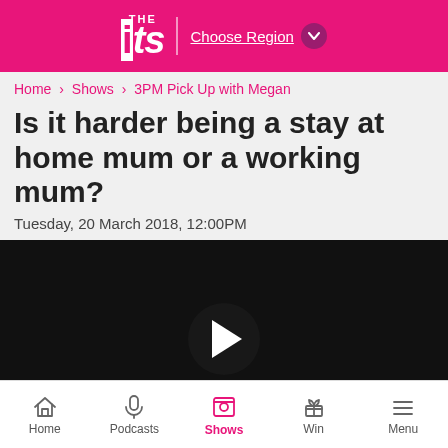The Hits | Choose Region
Home › Shows › 3PM Pick Up with Megan
Is it harder being a stay at home mum or a working mum?
Tuesday, 20 March 2018, 12:00PM
[Figure (screenshot): Video player with dark background and play button]
LIVE Listen on iHeartRadio
All The Hits You Know And Love
Home | Podcasts | Shows | Win | Menu